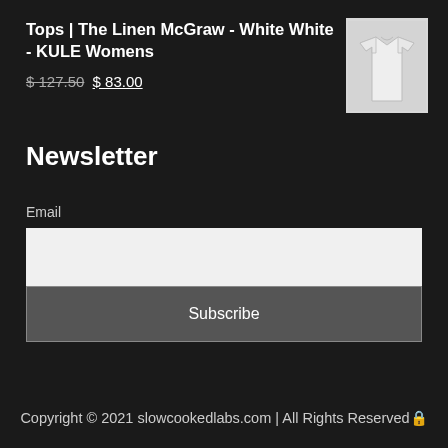Tops | The Linen McGraw - White White - KULE Womens
$ 127.50 $ 83.00
[Figure (photo): Product photo of a white linen shirt (The Linen McGraw by KULE) on a light gray background]
Newsletter
Email
Subscribe
Copyright © 2021 slowcookedlabs.com | All Rights Reserved🔒